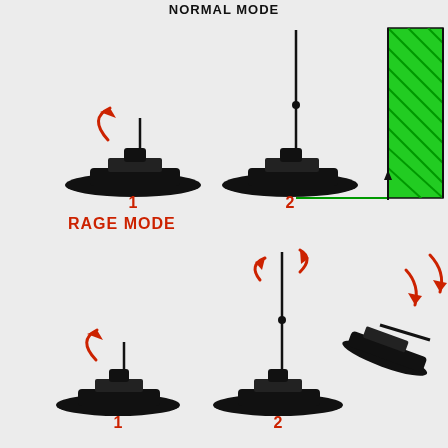NORMAL MODE
[Figure (schematic): Normal mode diagram showing two tank silhouettes labeled 1 and 2. Tank 1 has a short antenna with a red curved arrow pointing upward-right. Tank 2 has a tall vertical antenna. To the right is a green hatched rectangle with vertical lines and a connecting line going right, indicating signal range or mode indicator.]
RAGE MODE
[Figure (schematic): Rage mode diagram showing two tank silhouettes labeled 1 and 2. Tank 1 has a short antenna with a red curved arrow pointing upward-right. Tank 2 has a tall vertical antenna with a red curved arrow at the top indicating spinning/rotation. To the far right is a partially visible tank tilted with red arrows pointing downward indicating being knocked over or destroyed.]